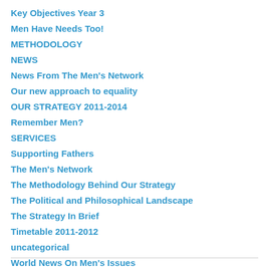Key Objectives Year 3
Men Have Needs Too!
METHODOLOGY
NEWS
News From The Men's Network
Our new approach to equality
OUR STRATEGY 2011-2014
Remember Men?
SERVICES
Supporting Fathers
The Men's Network
The Methodology Behind Our Strategy
The Political and Philosophical Landscape
The Strategy In Brief
Timetable 2011-2012
uncategorical
World News On Men's Issues